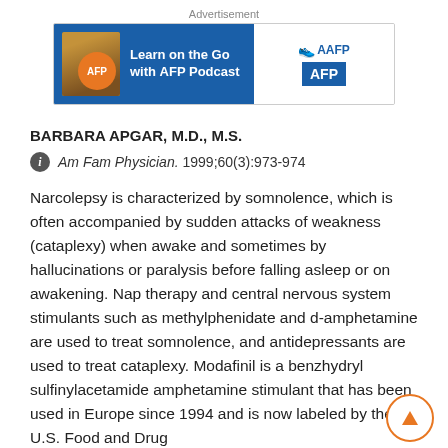[Figure (illustration): AFP Podcast advertisement banner with a woman wearing headphones, AFP logo in orange circle, tagline 'Learn on the Go with AFP Podcast', and AAFP and AFP logos on white background]
BARBARA APGAR, M.D., M.S.
Am Fam Physician. 1999;60(3):973-974
Narcolepsy is characterized by somnolence, which is often accompanied by sudden attacks of weakness (cataplexy) when awake and sometimes by hallucinations or paralysis before falling asleep or on awakening. Nap therapy and central nervous system stimulants such as methylphenidate and d-amphetamine are used to treat somnolence, and antidepressants are used to treat cataplexy. Modafinil is a benzhydryl sulfinylacetamide amphetamine stimulant that has been used in Europe since 1994 and is now labeled by the U.S. Food and Drug